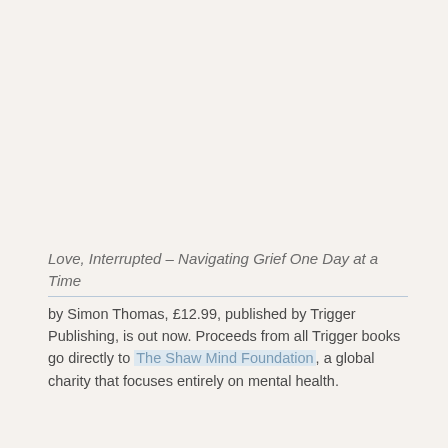Love, Interrupted – Navigating Grief One Day at a Time
by Simon Thomas, £12.99, published by Trigger Publishing, is out now. Proceeds from all Trigger books go directly to The Shaw Mind Foundation, a global charity that focuses entirely on mental health.